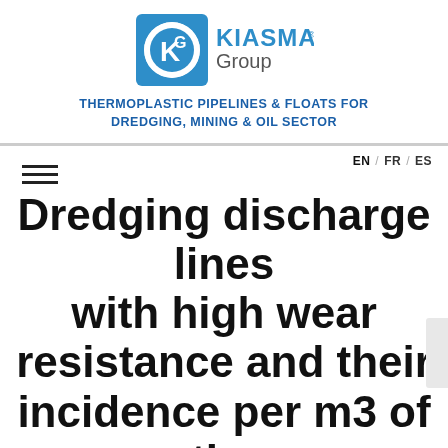[Figure (logo): Kiasma Group logo: circular blue emblem with stylized K and G letters, alongside text 'KIASMA Group' with registered trademark symbol]
THERMOPLASTIC PIPELINES & FLOATS FOR DREDGING, MINING & OIL SECTOR
EN / FR / ES
Dredging discharge lines with high wear resistance and their incidence per m3 of the